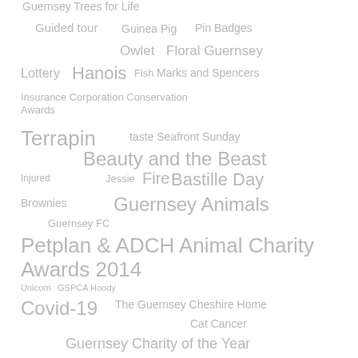[Figure (infographic): Tag cloud containing various words and phrases of different font sizes arranged across the page, all in light gray color. Tags include: Guernsey Trees for Life, Guided tour, Guinea Pig, Pin Badges, Owlet, Floral Guernsey, Lottery, Hanois, Fish, Marks and Spencers, Insurance Corporation Conservation Awards, Terrapin, taste Seafront Sunday, Beauty and the Beast, Injured, Jessie, Fire, Bastille Day, Brownies, Guernsey Animals, Guernsey FC, Petplan & ADCH Animal Charity Awards 2014, Unicorn, GSPCA Hoody, Covid-19, The Guernsey Cheshire Home, Cat Cancer, Guernsey Charity of the Year]